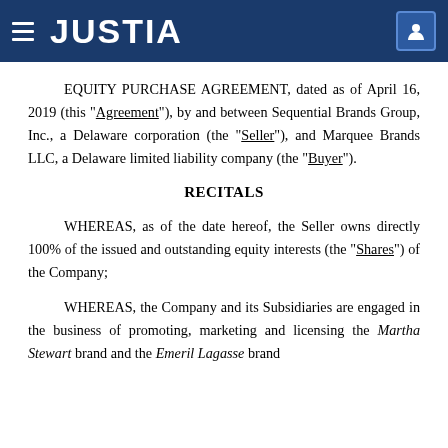JUSTIA
EQUITY PURCHASE AGREEMENT, dated as of April 16, 2019 (this “Agreement”), by and between Sequential Brands Group, Inc., a Delaware corporation (the “Seller”), and Marquee Brands LLC, a Delaware limited liability company (the “Buyer”).
RECITALS
WHEREAS, as of the date hereof, the Seller owns directly 100% of the issued and outstanding equity interests (the “Shares”) of the Company;
WHEREAS, the Company and its Subsidiaries are engaged in the business of promoting, marketing and licensing the Martha Stewart brand and the Emeril Lagasse brand